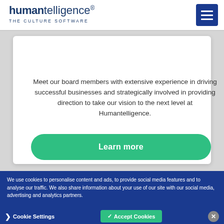humantelligence® THE CULTURE SOFTWARE
Meet our board members with extensive experience in driving successful businesses and strategically involved in providing direction to take our vision to the next level at Humantelligence.
Learn more
We use cookies to personalise content and ads, to provide social media features and to analyse our traffic. We also share information about your use of our site with our social media, advertising and analytics partners.
Cookie Settings
Accept Cookies